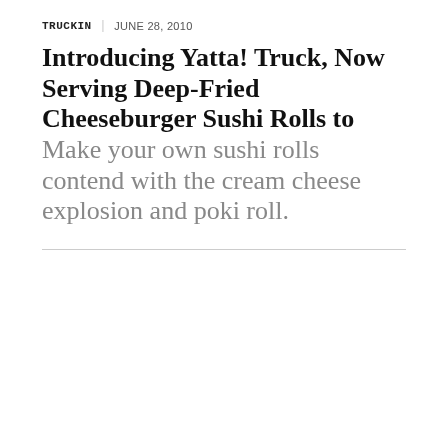TRUCKIN | JUNE 28, 2010
Introducing Yatta! Truck, Now Serving Deep-Fried Cheeseburger Sushi Rolls to Make your own sushi rolls contend with the cream cheese explosion and poki roll.